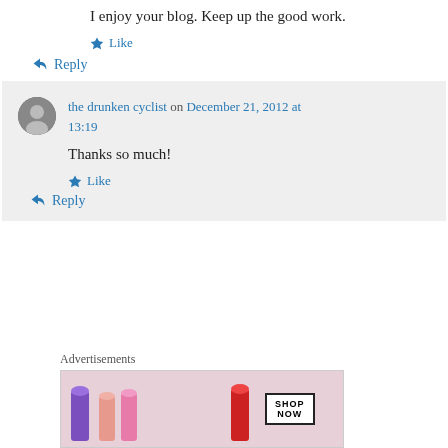I enjoy your blog. Keep up the good work.
Like
Reply
the drunken cyclist on December 21, 2012 at 13:19
Thanks so much!
Like
Reply
Advertisements